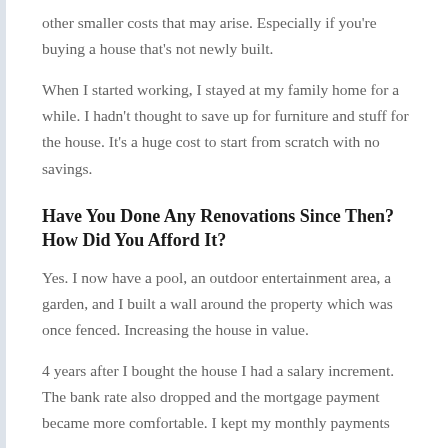other smaller costs that may arise. Especially if you're buying a house that's not newly built.
When I started working, I stayed at my family home for a while. I hadn't thought to save up for furniture and stuff for the house. It's a huge cost to start from scratch with no savings.
Have You Done Any Renovations Since Then? How Did You Afford It?
Yes. I now have a pool, an outdoor entertainment area, a garden, and I built a wall around the property which was once fenced. Increasing the house in value.
4 years after I bought the house I had a salary increment. The bank rate also dropped and the mortgage payment became more comfortable. I kept my monthly payments